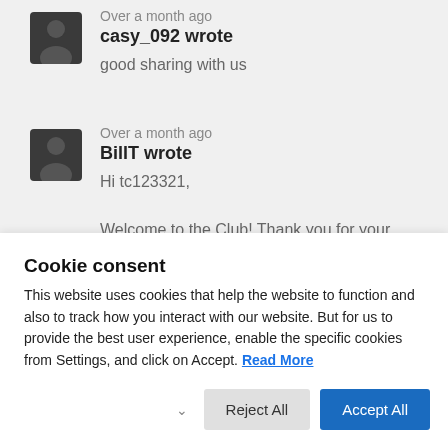Over a month ago
casy_092 wrote
good sharing with us
Over a month ago
BillT wrote
Hi tc123321,

Welcome to the Club! Thank you for your feedback and question.
Cookie consent
This website uses cookies that help the website to function and also to track how you interact with our website. But for us to provide the best user experience, enable the specific cookies from Settings, and click on Accept. Read More